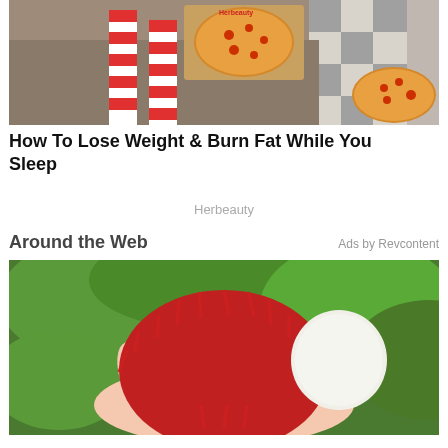[Figure (photo): Photo of a person lying on a couch with striped red and white stockings, holding an open pizza box with pizza. Another pizza visible on the right side on a checkered floor background.]
How To Lose Weight & Burn Fat While You Sleep
Herbeauty
Around the Web
Ads by Revcontent
[Figure (photo): Close-up photo of a hand holding a rambutan fruit (red spiky exterior with white flesh visible), with green foliage in the background.]